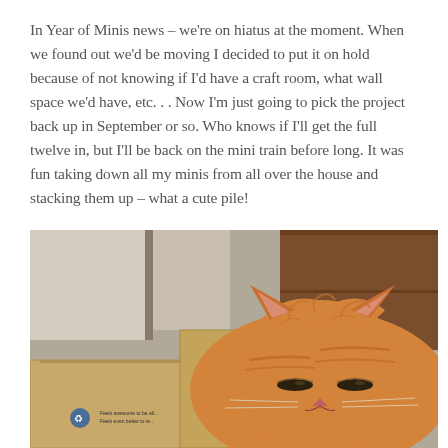In Year of Minis news – we're on hiatus at the moment. When we found out we'd be moving I decided to put it on hold because of not knowing if I'd have a craft room, what wall space we'd have, etc. . . Now I'm just going to pick the project back up in September or so. Who knows if I'll get the full twelve in, but I'll be back on the mini train before long. It was fun taking down all my minis from all over the house and stacking them up – what a cute pile!
[Figure (photo): An orange tabby cat resting its head on or near cardboard moving boxes. The cat appears to be squinting or half-asleep. Background shows wooden furniture. A cardboard box in the foreground has a recycling logo and partial text visible.]